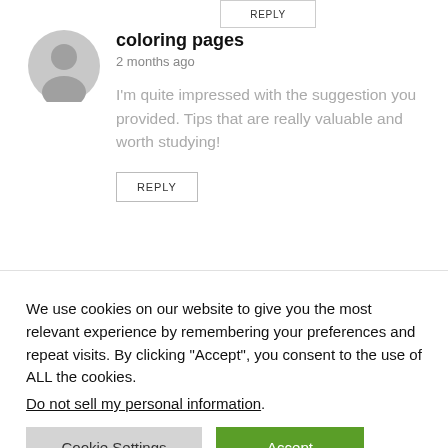REPLY
[Figure (illustration): User avatar placeholder: gray circle with silhouette]
coloring pages
2 months ago
I'm quite impressed with the suggestion you provided. Tips that are really valuable and worth studying!
REPLY
[Figure (illustration): Partial gray avatar at bottom]
We use cookies on our website to give you the most relevant experience by remembering your preferences and repeat visits. By clicking “Accept”, you consent to the use of ALL the cookies. Do not sell my personal information.
Cookie Settings
Accept